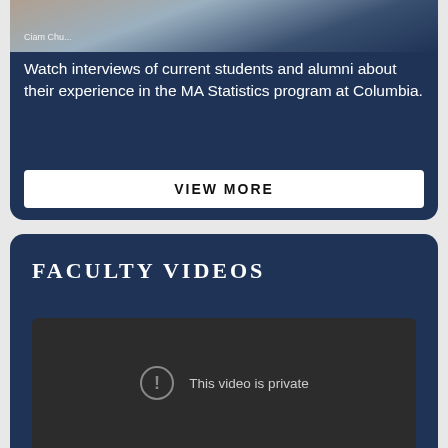[Figure (photo): Partial photo of a person at the top of a dark navy card, with a name partially visible as an overlay]
Watch interviews of current students and alumni about their experience in the MA Statistics program at Columbia.
VIEW MORE
FACULTY VIDEOS
[Figure (screenshot): Embedded video player showing 'This video is private' message with an exclamation mark icon]